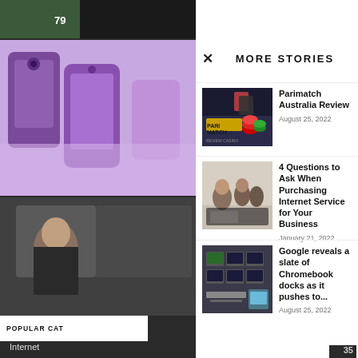[Figure (screenshot): Dark left sidebar panel with sports image strip at top showing number 79, purple phone image, person photo, popular categories section with Internet, Internet News, Life, Beauty, Education links]
MORE STORIES
[Figure (photo): Parimatch Review Casino promotional image with playing cards and poker chips]
Parimatch Australia Review
August 25, 2022
[Figure (photo): Family or group of people sitting together in a modern living room]
4 Questions to Ask When Purchasing Internet Service for Your Business
January 21, 2022
[Figure (photo): Multiple Chromebook docks on a desk with monitors and keyboards]
Google reveals a slate of Chromebook docks as it pushes to...
August 25, 2022
Internet
— Internet New
Life
— Beauty
— Education
35